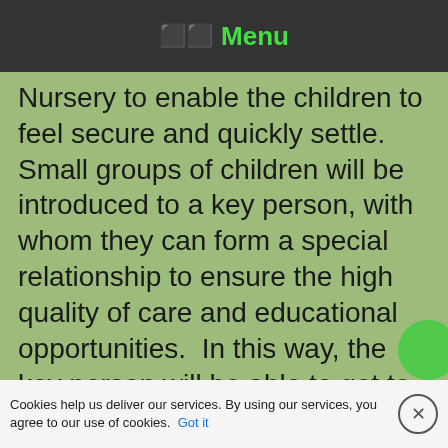Menu
Nursery to enable the children to feel secure and quickly settle.  Small groups of children will be introduced to a key person, with whom they can form a special relationship to ensure the high quality of care and educational opportunities.  In this way, the key person will be able to get to know each child quickly, enabling the Nursery to respond to each of their individual needs.
Cookies help us deliver our services. By using our services, you agree to our use of cookies. Got it